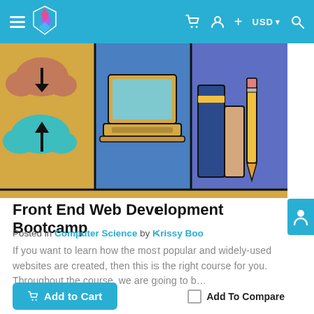Navigation bar with hamburger menu, logo, cart, user, plus, USD, search icons
[Figure (illustration): Course thumbnail illustration showing cloud upload/download icons on blue/purple background, a laptop computer, and books with a pencil]
Front End Web Development Bootcamp
Posted in Computer Science by Krissy Boo
If you want to learn how the most popular and widely-used websites are created, then this is the right course for you. Throughout the course, we are going to b…
Add to Cart  Add To Compare
19th Jul, 2021   0  0  0  4276  3